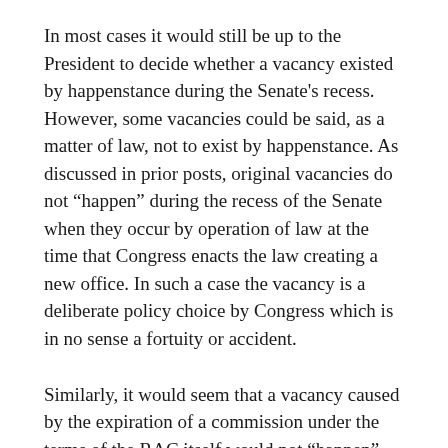In most cases it would still be up to the President to decide whether a vacancy existed by happenstance during the Senate's recess. However, some vacancies could be said, as a matter of law, not to exist by happenstance. As discussed in prior posts, original vacancies do not “happen” during the recess of the Senate when they occur by operation of law at the time that Congress enacts the law creating a new office. In such a case the vacancy is a deliberate policy choice by Congress which is in no sense a fortuity or accident.
Similarly, it would seem that a vacancy caused by the expiration of a commission under the terms of the RAC itself would not “happen” within the meaning of the Clause. Again, the vacancy would exist during the recess of the Senate, not as the result of happenstance, but by the deliberate design of the Framers.